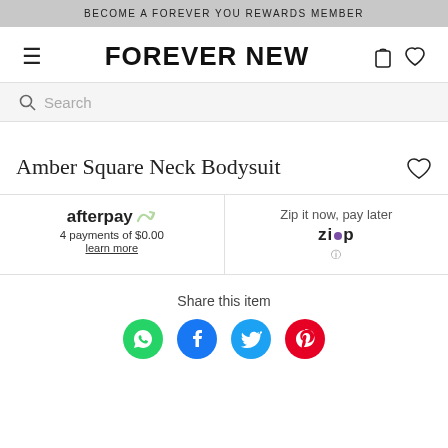BECOME A FOREVER YOU REWARDS MEMBER
FOREVER NEW
Search
Amber Square Neck Bodysuit
afterpay
4 payments of $0.00
learn more
Zip it now, pay later
Share this item